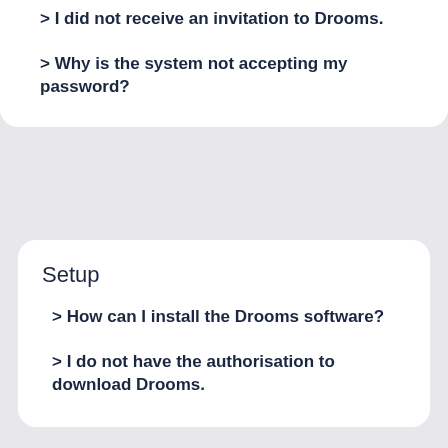> I did not receive an invitation to Drooms.
> Why is the system not accepting my password?
Setup
> How can I install the Drooms software?
> I do not have the authorisation to download Drooms.